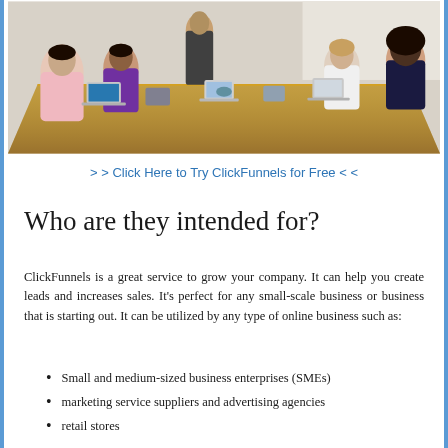[Figure (photo): Business meeting room with people seated around a long conference table, some with laptops and tablets, viewed from the side.]
> > Click Here to Try ClickFunnels for Free < <
Who are they intended for?
ClickFunnels is a great service to grow your company. It can help you create leads and increases sales. It's perfect for any small-scale business or business that is starting out. It can be utilized by any type of online business such as:
Small and medium-sized business enterprises (SMEs)
marketing service suppliers and advertising agencies
retail stores